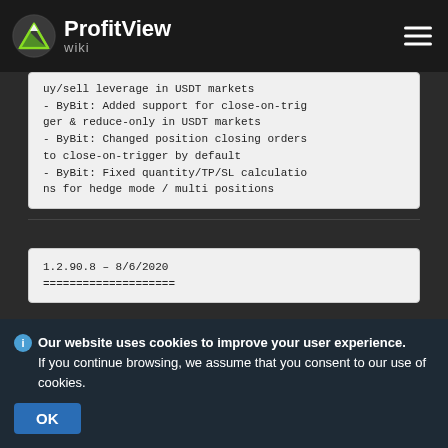ProfitView wiki
uy/sell leverage in USDT markets
- ByBit: Added support for close-on-trigger & reduce-only in USDT markets
- ByBit: Changed position closing orders to close-on-trigger by default
- ByBit: Fixed quantity/TP/SL calculations for hedge mode / multi positions
1.2.90.8 – 8/6/2020
====================
Our website uses cookies to improve your user experience. If you continue browsing, we assume that you consent to our use of cookies.